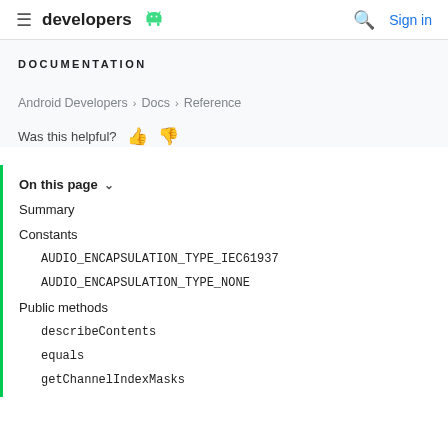developers  [Android logo]  [Search icon]  Sign in
DOCUMENTATION
Android Developers > Docs > Reference
Was this helpful? [thumbs up] [thumbs down]
On this page ∨
Summary
Constants
AUDIO_ENCAPSULATION_TYPE_IEC61937
AUDIO_ENCAPSULATION_TYPE_NONE
Public methods
describeContents
equals
getChannelIndexMasks